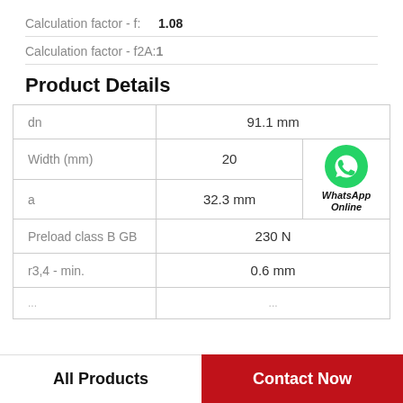Calculation factor - f:    1.08
Calculation factor - f2A:1
Product Details
|  | Value |  |
| --- | --- | --- |
| dn | 91.1 mm |  |
| Width (mm) | 20 | WhatsApp Online |
| a | 32.3 mm |  |
| Preload class B GB | 230 N |  |
| r3,4 - min. | 0.6 mm |  |
| (partial row) | ... |  |
All Products    Contact Now